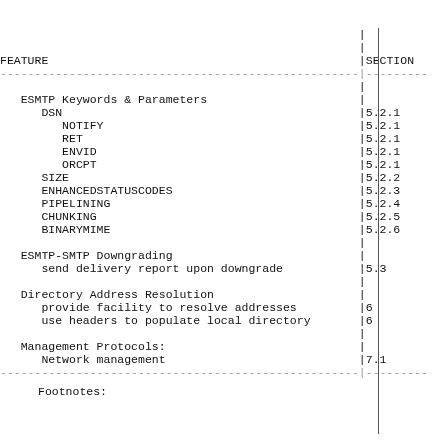| FEATURE | SECTION |
| --- | --- |
| ESMTP Keywords & Parameters |  |
|   DSN | 5.2.1 |
|     NOTIFY | 5.2.1 |
|     RET | 5.2.1 |
|     ENVID | 5.2.1 |
|     ORCPT | 5.2.1 |
|   SIZE | 5.2.2 |
|   ENHANCEDSTATUSCODES | 5.2.3 |
|   PIPELINING | 5.2.4 |
|   CHUNKING | 5.2.5 |
|   BINARYMIME | 5.2.6 |
| ESMTP-SMTP Downgrading |  |
|   send delivery report upon downgrade | 5.3 |
| Directory Address Resolution |  |
|   provide facility to resolve addresses | 6 |
|   use headers to populate local directory | 6 |
| Management Protocols: |  |
|   Network management | 7.1 |
Footnotes: